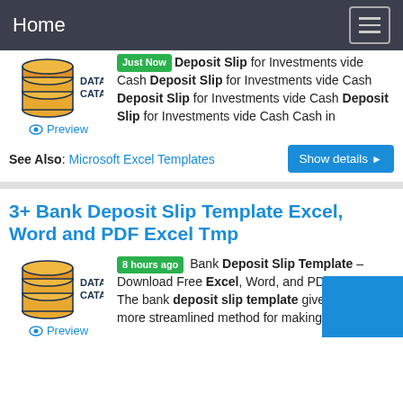Home
[Figure (logo): Data Catalog logo with stacked cylinders icon and text DATA CATALOG]
Just Now Deposit Slip for Investments vide Cash Deposit Slip for Investments vide Cash Deposit Slip for Investments vide Cash Deposit Slip for Investments vide Cash Cash in
Preview
See Also: Microsoft Excel Templates
Show details
3+ Bank Deposit Slip Template Excel, Word and PDF Excel Tmp
[Figure (logo): Data Catalog logo with stacked cylinders icon and text DATA CATALOG]
8 hours ago Bank Deposit Slip Template – Download Free Excel, Word, and PDF Format. The bank deposit slip template gives you a more streamlined method for making
Preview